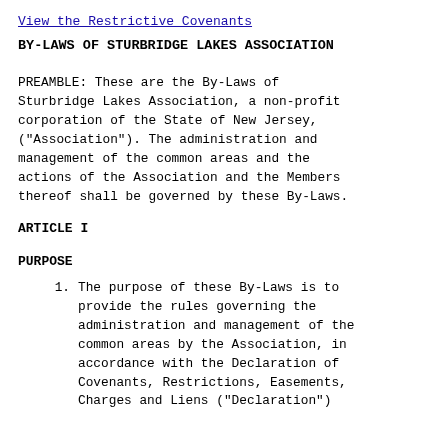View the Restrictive Covenants
BY-LAWS OF STURBRIDGE LAKES ASSOCIATION
PREAMBLE: These are the By-Laws of Sturbridge Lakes Association, a non-profit corporation of the State of New Jersey, ("Association"). The administration and management of the common areas and the actions of the Association and the Members thereof shall be governed by these By-Laws.
ARTICLE I
PURPOSE
1. The purpose of these By-Laws is to provide the rules governing the administration and management of the common areas by the Association, in accordance with the Declaration of Covenants, Restrictions, Easements, Charges and Liens ("Declaration")